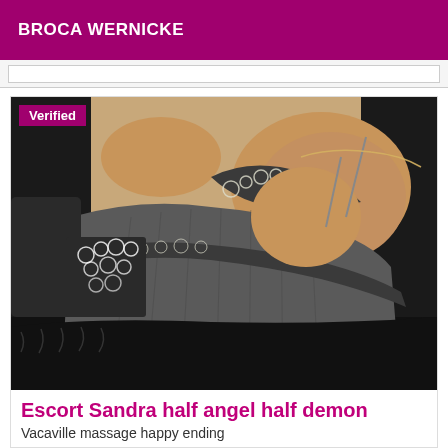BROCA WERNICKE
[Figure (photo): Person lying down wearing a dark grey gathered dress with black and white floral lace trim, photographed from above at close range. A 'Verified' badge appears in the top left corner of the image.]
Escort Sandra half angel half demon
Vacaville massage happy ending